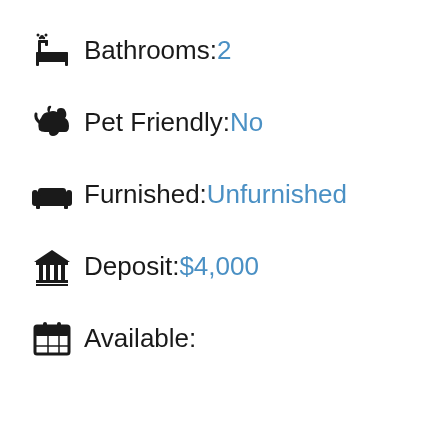Bathrooms: 2
Pet Friendly: No
Furnished: Unfurnished
Deposit: $4,000
Available: